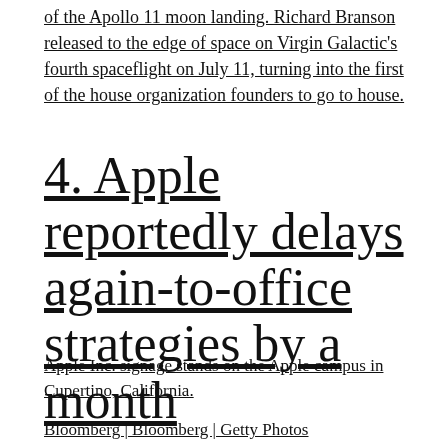of the Apollo 11 moon landing. Richard Branson released to the edge of space on Virgin Galactic's fourth spaceflight on July 11, turning into the first of the house organization founders to go to house.
4. Apple reportedly delays again-to-office strategies by a month
Apple Inc. signage stands on the Apple campus in Cupertino, California.
Bloomberg | Bloomberg | Getty Photos